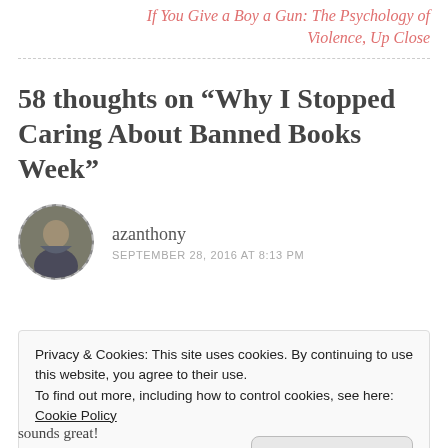If You Give a Boy a Gun: The Psychology of Violence, Up Close
58 thoughts on “Why I Stopped Caring About Banned Books Week”
azanthony
SEPTEMBER 28, 2016 AT 8:13 PM
Privacy & Cookies: This site uses cookies. By continuing to use this website, you agree to their use.
To find out more, including how to control cookies, see here: Cookie Policy
Close and accept
sounds great!